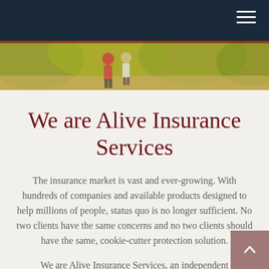[Figure (photo): Outdoor photo showing people walking, with warm green and yellow background tones]
We are Alive Insurance Services
The insurance market is vast and ever-growing. With hundreds of companies and available products designed to help millions of people, status quo is no longer sufficient. No two clients have the same concerns and no two clients should have the same, cookie-cutter protection solution.
We are Alive Insurance Services, an independent